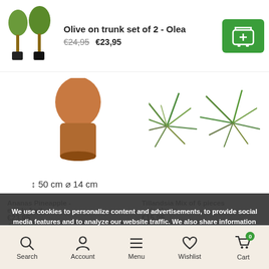[Figure (screenshot): Product card showing two olive trees on trunk, with product title, crossed-out price €24,95 and new price €23,95, and a green add-to-cart button]
[Figure (photo): Plant images in mid-section: a brown-potted plant on left, two spiky air plants on right]
↕ 50 cm ⌀ 14 cm
We use cookies to personalize content and advertisements, to provide social media features and to analyze our website traffic. We also share information about your use of our site with our social media, advertising and analytics partners. These partners may combine this information with other information that you have provided to them or that they have collected based on your use of their services. You agree to our cookies by continuing to use our website.
Ananas Pineapple - edible fruit
€23,95
Available
Tillandsia Mix of 6 pieces - Air plants
€15,95
Available
Hide this message
More on cookies »
Didn't find what you're looking for?
Search  Account  Menu  Wishlist  Cart